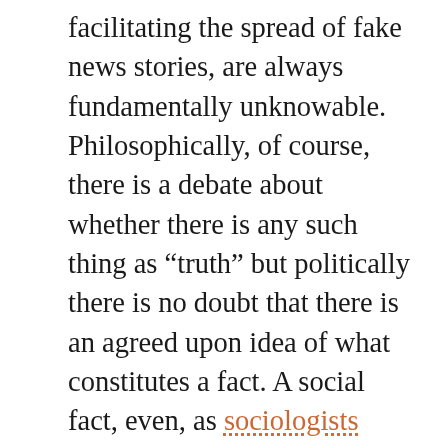facilitating the spread of fake news stories, are always fundamentally unknowable. Philosophically, of course, there is a debate about whether there is any such thing as “truth” but politically there is no doubt that there is an agreed upon idea of what constitutes a fact. A social fact, even, as sociologists often call it. How ironic for the great narrative emerging from this election to be so fastidiously addicted to “fake news” that may or may not have swayed the election given how racecraft has shaped the political fabric of this nation, eating truth whenever convenient to make sure that fabric only ever secured white freedoms.